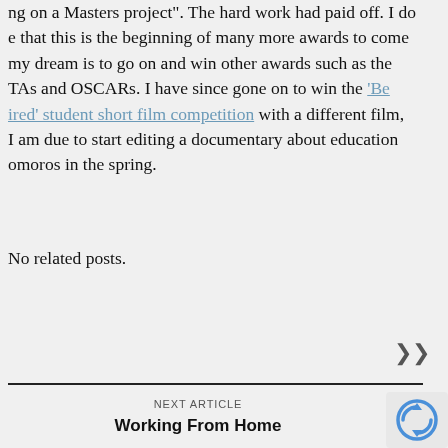ng on a Masters project". The hard work had paid off. I do e that this is the beginning of many more awards to come my dream is to go on and win other awards such as the TAs and OSCARs. I have since gone on to win the 'Be ired' student short film competition with a different film, I am due to start editing a documentary about education omoros in the spring.
No related posts.
NEXT ARTICLE
Working From Home